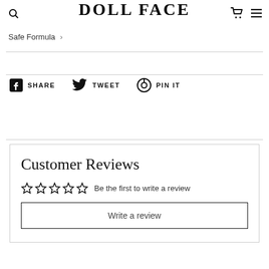DOLL FACE
Safe Formula
SHARE   TWEET   PIN IT
Customer Reviews
Be the first to write a review
Write a review